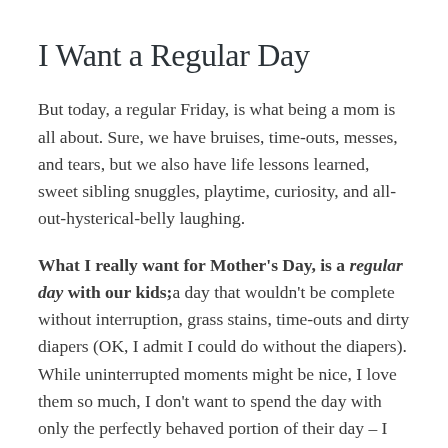I Want a Regular Day
But today, a regular Friday, is what being a mom is all about. Sure, we have bruises, time-outs, messes, and tears, but we also have life lessons learned, sweet sibling snuggles, playtime, curiosity, and all-out-hysterical-belly laughing.
What I really want for Mother’s Day, is a regular day with our kids;a day that wouldn’t be complete without interruption, grass stains, time-outs and dirty diapers (OK, I admit I could do without the diapers). While uninterrupted moments might be nice, I love them so much, I don’t want to spend the day with only the perfectly behaved portion of their day – I want all of it. Messy or not.